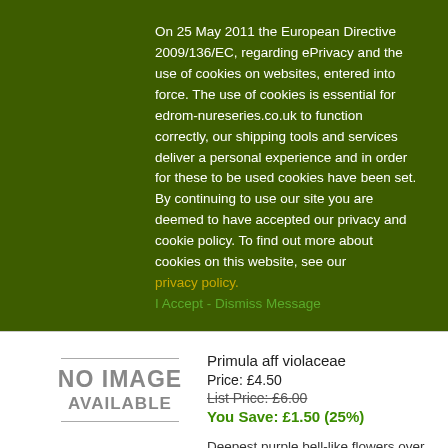On 25 May 2011 the European Directive 2009/136/EC, regarding ePrivacy and the use of cookies on websites, entered into force. The use of cookies is essential for edrom-nureseries.co.uk to function correctly, our shipping tools and services deliver a personal experience and in order for these to be used cookies have been set. By continuing to use our site you are deemed to have accepted our privacy and cookie policy. To find out more about cookies on this website, see our privacy policy. I Accept - Dismiss Message
[Figure (other): No Image Available placeholder box with grey horizontal lines above and below]
Primula aff violaceae
Price: £4.50
List Price: £6.00
You Save: £1.50 (25%)
Deepest purple bell-like flowers over haired green rosettes.